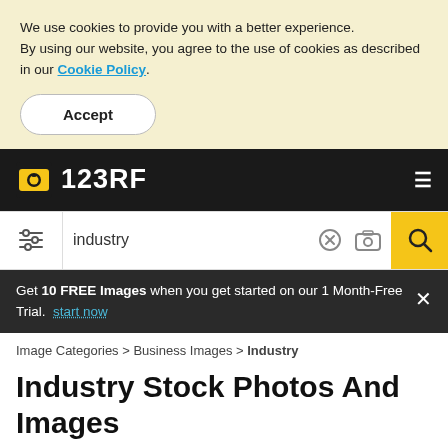We use cookies to provide you with a better experience. By using our website, you agree to the use of cookies as described in our Cookie Policy.
Accept
[Figure (logo): 123RF logo with camera icon on black navigation bar]
[Figure (screenshot): Search bar with filter icon, industry search term, clear and camera icons, and yellow search button]
Get 10 FREE Images when you get started on our 1 Month-Free Trial. start now
Image Categories > Business Images > Industry
Industry Stock Photos And Images